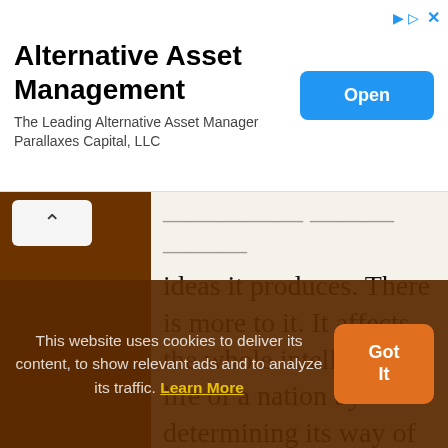[Figure (screenshot): Advertisement banner for Alternative Asset Management by Parallaxes Capital, LLC with an Open button]
ideas it produces. There is more to it. It affects the whole intellectual life of a nation by determining its way of thinking and the standards by which actions and intellectual production are judged. If science is highly regarded and if the importance of being concerned with the most up-to-date problems of fundamental research is
This website uses cookies to deliver its content, to show relevant ads and to analyze its traffic. Learn More
[Figure (other): Got It button for cookie consent]